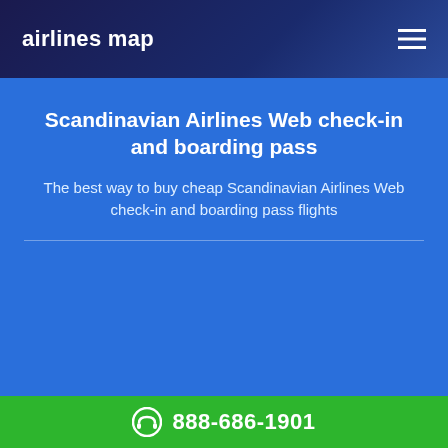airlines map
Scandinavian Airlines Web check-in and boarding pass
The best way to buy cheap Scandinavian Airlines Web check-in and boarding pass flights
888-686-1901